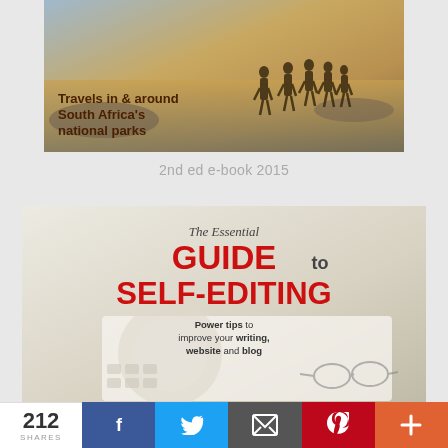[Figure (photo): Book cover photo showing people walking through shallow water at sunset with text 'Travels in & around South Africa's national parks']
2nd ed e-book 2015
[Figure (photo): Book cover for 'The Essential GUIDE to SELF-EDITING - Power tips to improve your writing, website and blog']
212 SHARES
[Figure (infographic): Social sharing bar with Facebook, Twitter, Email, Pinterest, and More buttons]